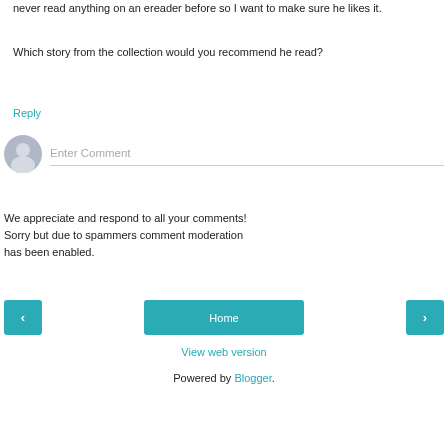never read anything on an ereader before so I want to make sure he likes it.
Which story from the collection would you recommend he read?
Reply
[Figure (other): User avatar placeholder icon (grey circle with silhouette) next to an Enter Comment input field with bottom border]
We appreciate and respond to all your comments! Sorry but due to spammers comment moderation has been enabled.
[Figure (other): Navigation bar with left arrow button, Home button (teal), and right arrow button (teal)]
View web version
Powered by Blogger.